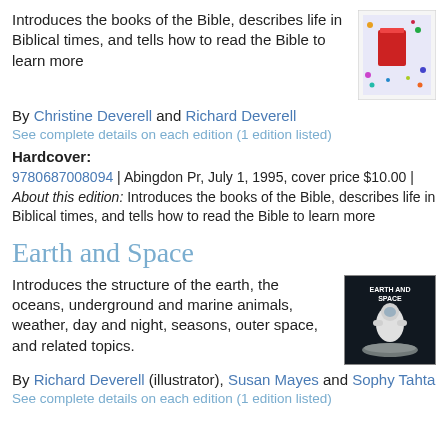Introduces the books of the Bible, describes life in Biblical times, and tells how to read the Bible to learn more
[Figure (photo): Book cover with colorful illustrated design featuring a red book]
By Christine Deverell and Richard Deverell
See complete details on each edition (1 edition listed)
Hardcover:
9780687008094 | Abingdon Pr, July 1, 1995, cover price $10.00 | About this edition: Introduces the books of the Bible, describes life in Biblical times, and tells how to read the Bible to learn more
Earth and Space
Introduces the structure of the earth, the oceans, underground and marine animals, weather, day and night, seasons, outer space, and related topics.
[Figure (photo): Book cover of Earth and Space with dark background showing a white figure/astronaut]
By Richard Deverell (illustrator), Susan Mayes and Sophy Tahta
See complete details on each edition (1 edition listed)